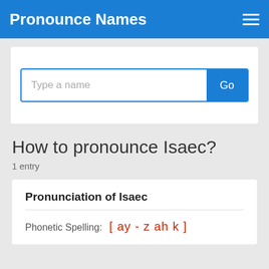Pronounce Names
[Figure (screenshot): Search bar with placeholder text 'Type a name' and a blue 'Go' button]
How to pronounce Isaec?
1 entry
Pronunciation of Isaec
Phonetic Spelling: [ ay - z ah k ]